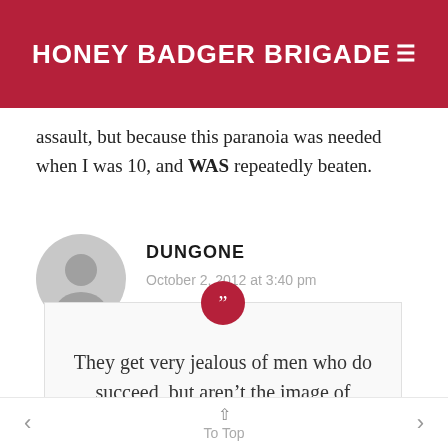HONEY BADGER BRIGADE
assault, but because this paranoia was needed when I was 10, and WAS repeatedly beaten.
DUNGONE
October 2, 2012 at 3:40 pm
They get very jealous of men who do succeed, but aren’t the image of manliness… Like
To Top